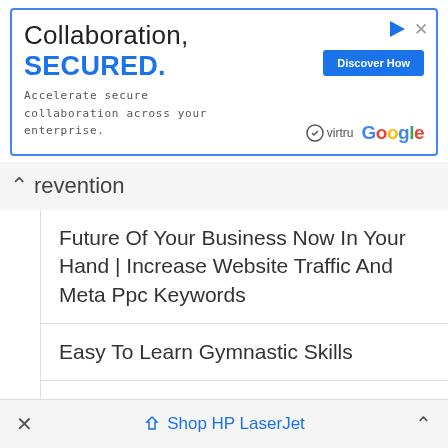[Figure (screenshot): Advertisement banner for Virtru secure collaboration product, showing 'Collaboration, SECURED.' text, a 'Discover How' button, Virtru and Google logos, with a blue border.]
Prevention
Future Of Your Business Now In Your Hand | Increase Website Traffic And Meta Ppc Keywords
Easy To Learn Gymnastic Skills
What You Need To Know About Scuba Diving Masks
Load Balance Broadband Devices
5 Awesome Reasons Why Your Business
Shop HP LaserJet